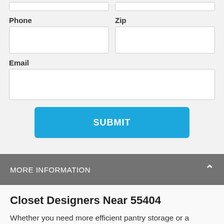Phone
Zip
Email
SUBMIT
MORE INFORMATION
Closet Designers Near 55404
Whether you need more efficient pantry storage or a bespoke custom closet near 55404, our closet experts can help you find storage solutions that fit your needs, space, and taste. Book an online or in-person consultation with our closet experts near